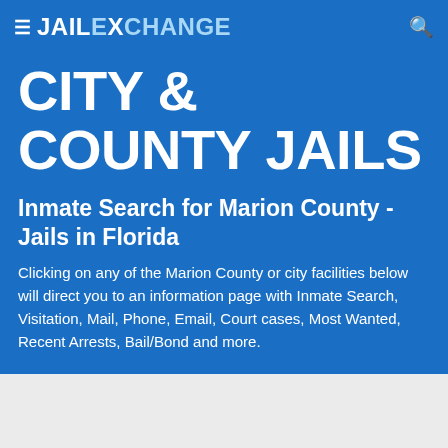≡ JAILEXCHANGE 🔍
CITY & COUNTY JAILS
Inmate Search for Marion County - Jails in Florida
Clicking on any of the Marion County or city facilities below will direct you to an information page with Inmate Search, Visitation, Mail, Phone, Email, Court cases, Most Wanted, Recent Arrests, Bail/Bond and more.